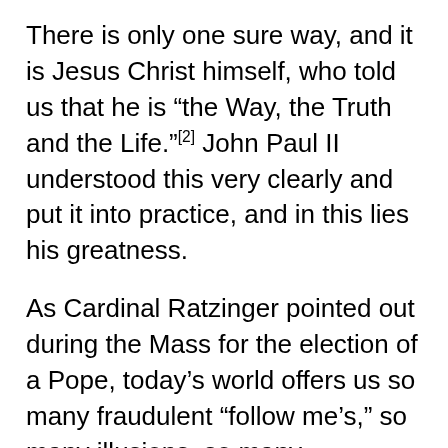There is only one sure way, and it is Jesus Christ himself, who told us that he is “the Way, the Truth and the Life.”[2] John Paul II understood this very clearly and put it into practice, and in this lies his greatness.
As Cardinal Ratzinger pointed out during the Mass for the election of a Pope, today’s world offers us so many fraudulent “follow me’s,” so many illusions, so many incitements to the most improbable adventures of the ego: “How many winds of doctrine we have known in recent decades, how many ideological currents, how many ways of thinking... The small boat of thought of many Christians has often been tossed about by these waves—thrown from one extreme to the other.[3] ...